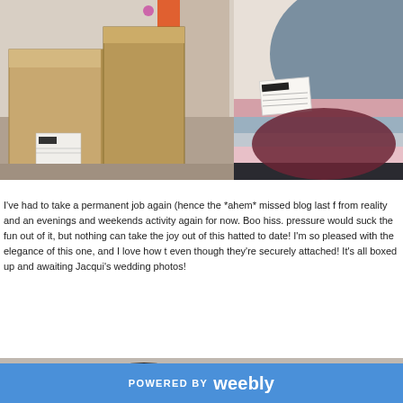[Figure (photo): Cardboard boxes sitting on a floor next to a wall with orange panels, with a shipping label on one box]
[Figure (photo): Close-up of a hat or fabric item with colorful striped fabric (pink, blue, grey, black) and a label card attached]
I've had to take a permanent job again (hence the *ahem* missed blog last f... from reality and an evenings and weekends activity again for now. Boo hiss. pressure would suck the fun out of it, but nothing can take the joy out of this hatted to date! I'm so pleased with the elegance of this one, and I love how t... even though they're securely attached! It's all boxed up and awaiting Jacqui's wedding photos!
[Figure (photo): Partial view of a dark object on a light background, bottom of page]
POWERED BY weebly